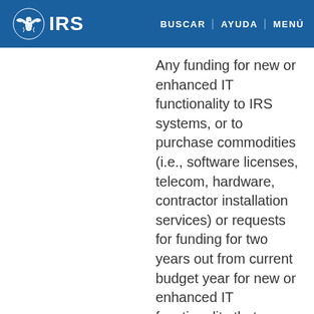IRS | BUSCAR | AYUDA | MENÚ
Any funding for new or enhanced IT functionality to IRS systems, or to purchase commodities (i.e., software licenses, telecom, hardware, contractor installation services) or requests for funding for two years out from current budget year for new or enhanced IT functionality that